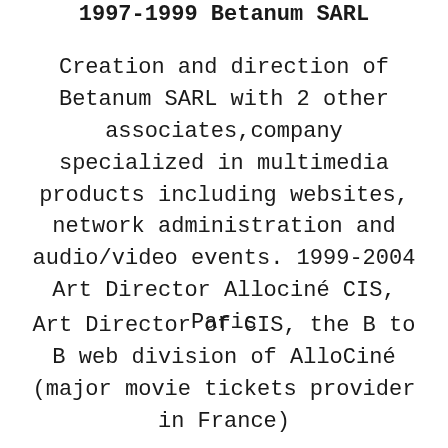1997-1999 Betanum SARL
Creation and direction of Betanum SARL with 2 other associates,company specialized in multimedia products including websites, network administration and audio/video events. 1999-2004 Art Director Allociné CIS, Paris
Art Director of CIS, the B to B web division of AlloCiné (major movie tickets provider in France)